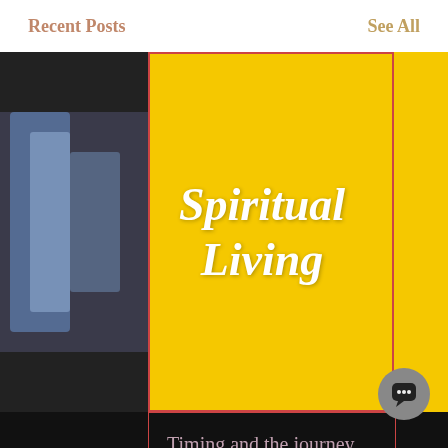Recent Posts    See All
[Figure (screenshot): Yellow card with 'Spiritual Living' in white cursive script on yellow background, with adjacent thumbnail and black side panel]
Timing and the journey with the conscious...
[Figure (infographic): Post stats row: eye icon with '1', comment icon with '0', heart icon (unfilled)]
[Figure (other): Navigation dots (3 dots, first active) and scroll-up chevron button]
[Figure (other): Donate button (yellow pill shape) and chat bubble button in purple/grey footer area]